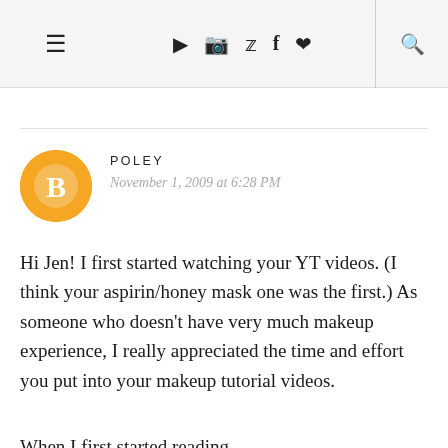≡ ▶ 📷 🐦 f ♥ 🔍
POLEY
November 1, 2009 at 6:28 PM
Hi Jen! I first started watching your YT videos. (I think your aspirin/honey mask one was the first.) As someone who doesn't have very much makeup experience, I really appreciated the time and effort you put into your makeup tutorial videos.
When I first started reading